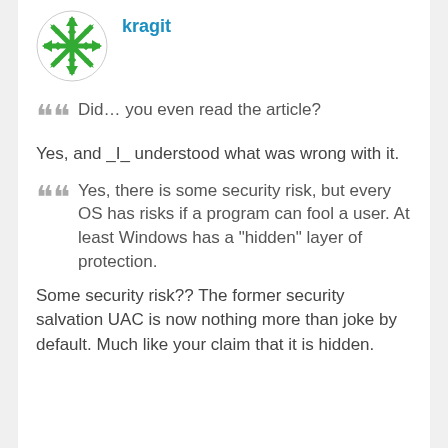[Figure (illustration): Green circular avatar with geometric snowflake/star pattern in green and white]
kragit
Did… you even read the article?
Yes, and _I_ understood what was wrong with it.
Yes, there is some security risk, but every OS has risks if a program can fool a user. At least Windows has a "hidden" layer of protection.
Some security risk?? The former security salvation UAC is now nothing more than joke by default. Much like your claim that it is hidden.